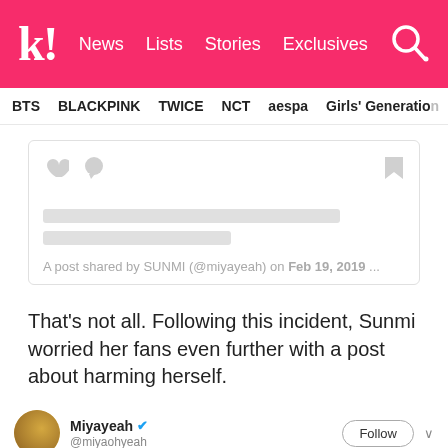k! News Lists Stories Exclusives
BTS BLACKPINK TWICE NCT aespa Girls' Generation
[Figure (screenshot): Instagram embed placeholder with heart, comment icons on left, bookmark on right, two grey loading lines, caption: A post shared by SUNMI (@miyayeah) on Feb 19, 2019 ...]
That’s not all. Following this incident, Sunmi worried her fans even further with a post about harming herself.
Miyayeah @miyaohyeah Follow